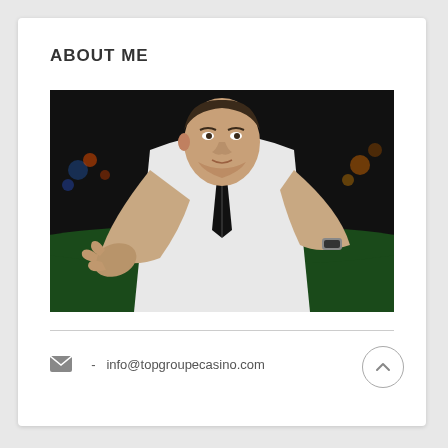ABOUT ME
[Figure (photo): Casino dealer in white shirt and black tie reaching across a green felt casino table, flipping playing cards toward the camera, dark atmospheric background]
✉  -  info@topgroupecasino.com